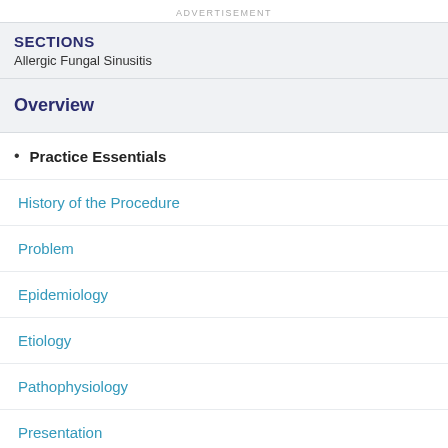ADVERTISEMENT
SECTIONS
Allergic Fungal Sinusitis
Overview
Practice Essentials
History of the Procedure
Problem
Epidemiology
Etiology
Pathophysiology
Presentation